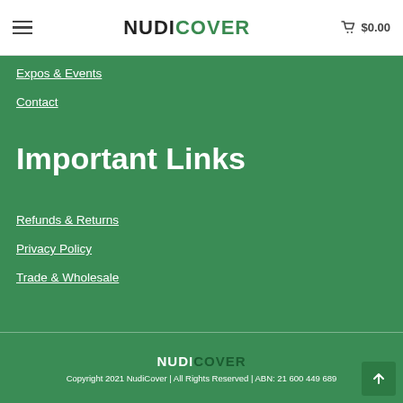≡  NUDICOVER  $0.00
Expos & Events
Contact
Important Links
Refunds & Returns
Privacy Policy
Trade & Wholesale
NUDICOVER
Copyright 2021 NudiCover | All Rights Reserved | ABN: 21 600 449 689